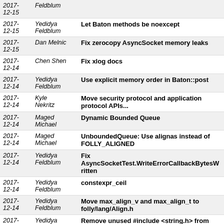| Date | Author | Message |
| --- | --- | --- |
| 2017-12-15 | Feldblum |  |
| 2017-12-15 | Yedidya Feldblum | Let Baton methods be noexcept |
| 2017-12-15 | Dan Melnic | Fix zerocopy AsyncSocket memory leaks |
| 2017-12-14 | Chen Shen | Fix xlog docs |
| 2017-12-14 | Yedidya Feldblum | Use explicit memory order in Baton::post |
| 2017-12-14 | Kyle Nekritz | Move security protocol and application protocol APIs... |
| 2017-12-14 | Maged Michael | Dynamic Bounded Queue |
| 2017-12-14 | Maged Michael | UnboundedQueue: Use alignas instead of FOLLY_ALIGNED |
| 2017-12-14 | Yedidya Feldblum | Fix AsyncSocketTest.WriteErrorCallbackBytesWritten |
| 2017-12-14 | Yedidya Feldblum | constexpr_ceil |
| 2017-12-14 | Yedidya Feldblum | Move max_align_v and max_align_t to folly/lang/Align.h |
| 2017-12-13 | Yedidya Feldblum | Remove unused #include <string.h> from folly/Portability.h |
| 2017-12-13 | Christopher Dykes | Explicitly refer to the std::chrono namespace to avoid... |
| 2017-12-13 | RcRonco | typo in io/Cursor.h |